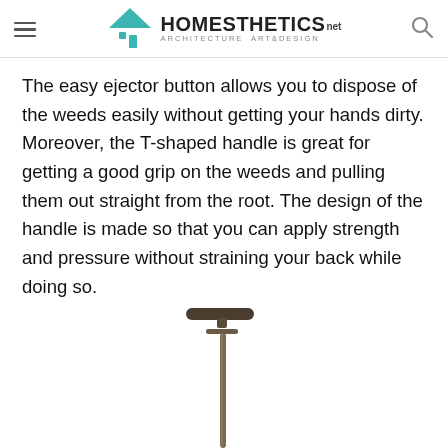HOMESTHETICS - ARCHITECTURE ART&DESIGN
The easy ejector button allows you to dispose of the weeds easily without getting your hands dirty. Moreover, the T-shaped handle is great for getting a good grip on the weeds and pulling them out straight from the root. The design of the handle is made so that you can apply strength and pressure without straining your back while doing so.
[Figure (photo): A weed puller tool with a T-shaped handle at the top and a long thin shaft extending downward, shown against a white background.]